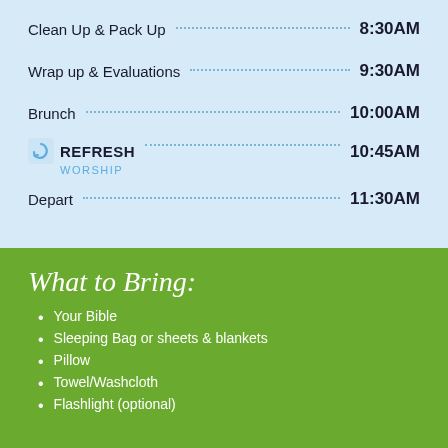Clean Up & Pack Up — 8:30AM
Wrap up & Evaluations — 9:30AM
Brunch — 10:00AM
REFRESH WORSHIP — 10:45AM
Depart — 11:30AM
What to Bring:
Your Bible
Sleeping Bag or sheets & blankets
Pillow
Towel/Washcloth
Flashlight (optional)